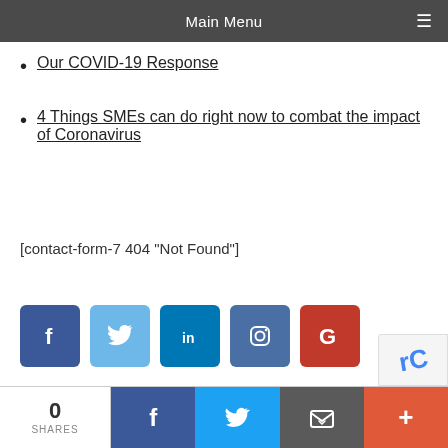Main Menu
Our COVID-19 Response
4 Things SMEs can do right now to combat the impact of Coronavirus
[contact-form-7 404 "Not Found"]
[Figure (infographic): Row of 5 social media icon buttons: Facebook (dark blue), Twitter (light blue), LinkedIn (dark teal), Instagram (steel blue), Google (red-orange)]
0 SHARES | Facebook share | Twitter share | Email share | More